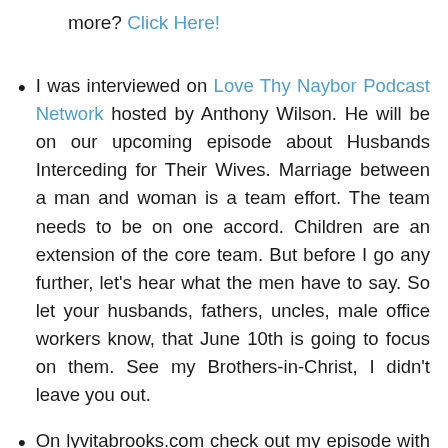more? Click Here!
I was interviewed on Love Thy Naybor Podcast Network hosted by Anthony Wilson. He will be on our upcoming episode about Husbands Interceding for Their Wives. Marriage between a man and woman is a team effort. The team needs to be on one accord. Children are an extension of the core team. But before I go any further, let's hear what the men have to say. So let your husbands, fathers, uncles, male office workers know, that June 10th is going to focus on them. See my Brothers-in-Christ, I didn't leave you out.
On lyvitabrooks.com check out my episode with Shari Let's Talk About Self-Harm – An